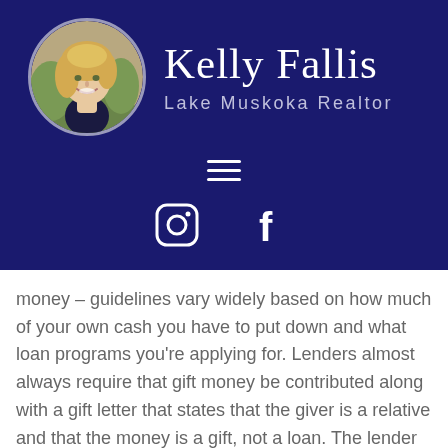[Figure (photo): Circular profile photo of a smiling blonde woman, Kelly Fallis, set against a dark navy blue header background.]
Kelly Fallis
Lake Muskoka Realtor
[Figure (infographic): Hamburger menu icon (three horizontal white lines) on navy blue background.]
[Figure (infographic): Instagram and Facebook social media icons on navy blue background.]
money – guidelines vary widely based on how much of your own cash you have to put down and what loan programs you're applying for. Lenders almost always require that gift money be contributed along with a gift letter that states that the giver is a relative and that the money is a gift, not a loan. The lender may also require to see a bank account statement from the giver showing that the money was theirs to give –